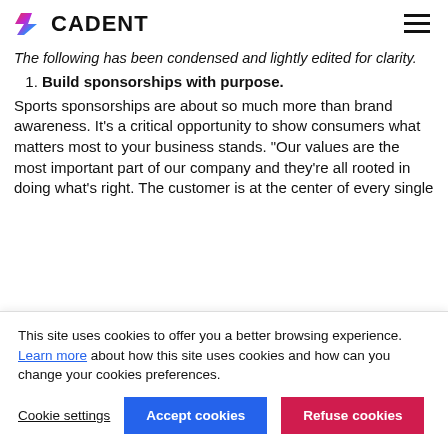CADENT
The following has been condensed and lightly edited for clarity.
1. Build sponsorships with purpose.
Sports sponsorships are about so much more than brand awareness. It’s a critical opportunity to show consumers what matters most to your business stands. “Our values are the most important part of our company and they’re all rooted in doing what’s right. The customer is at the center of every single
This site uses cookies to offer you a better browsing experience. Learn more about how this site uses cookies and how can you change your cookies preferences.
Cookie settings | Accept cookies | Refuse cookies